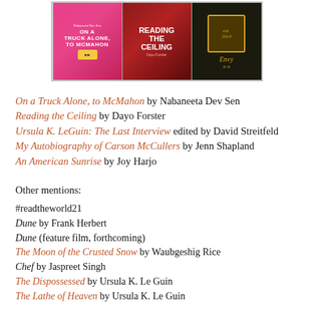[Figure (illustration): Three book covers displayed side by side: 'On a Truck Alone, to McMahon' with pink/magenta background, 'Reading the Ceiling' with dark red background and white text, and 'Envy' with dark/black background and gold text.]
On a Truck Alone, to McMahon by Nabaneeta Dev Sen
Reading the Ceiling by Dayo Forster
Ursula K. LeGuin: The Last Interview edited by David Streitfeld
My Autobiography of Carson McCullers by Jenn Shapland
An American Sunrise by Joy Harjo
Other mentions:
#readtheworld21
Dune by Frank Herbert
Dune (feature film, forthcoming)
The Moon of the Crusted Snow by Waubgeshig Rice
Chef by Jaspreet Singh
The Dispossessed by Ursula K. Le Guin
The Lathe of Heaven by Ursula K. Le Guin